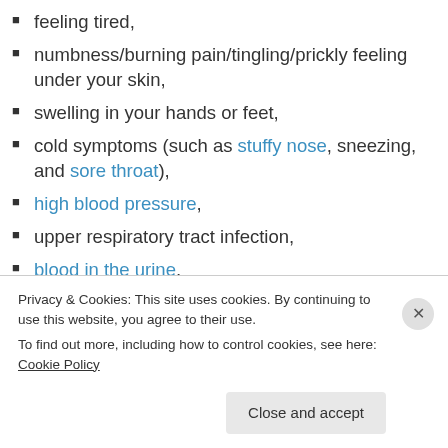feeling tired,
numbness/burning pain/tingling/prickly feeling under your skin,
swelling in your hands or feet,
cold symptoms (such as stuffy nose, sneezing, and sore throat),
high blood pressure,
upper respiratory tract infection,
blood in the urine,
urinary frequency,
dry skin,
Privacy & Cookies: This site uses cookies. By continuing to use this website, you agree to their use. To find out more, including how to control cookies, see here: Cookie Policy